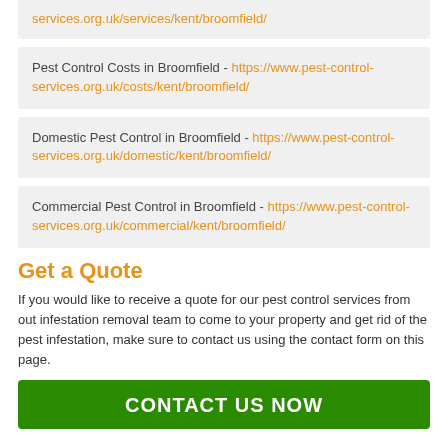services.org.uk/services/kent/broomfield/
Pest Control Costs in Broomfield - https://www.pest-control-services.org.uk/costs/kent/broomfield/
Domestic Pest Control in Broomfield - https://www.pest-control-services.org.uk/domestic/kent/broomfield/
Commercial Pest Control in Broomfield - https://www.pest-control-services.org.uk/commercial/kent/broomfield/
Get a Quote
If you would like to receive a quote for our pest control services from out infestation removal team to come to your property and get rid of the pest infestation, make sure to contact us using the contact form on this page.
CONTACT US NOW